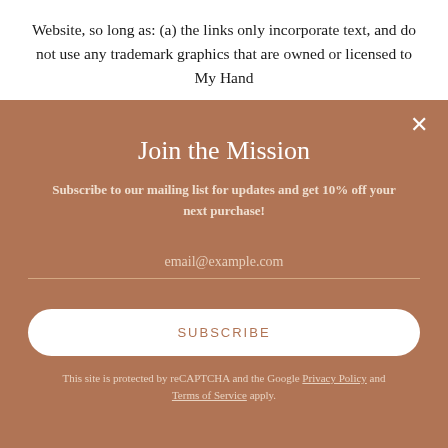Website, so long as: (a) the links only incorporate text, and do not use any trademark graphics that are owned or licensed to My Hand
Join the Mission
Subscribe to our mailing list for updates and get 10% off your next purchase!
email@example.com
SUBSCRIBE
This site is protected by reCAPTCHA and the Google Privacy Policy and Terms of Service apply.